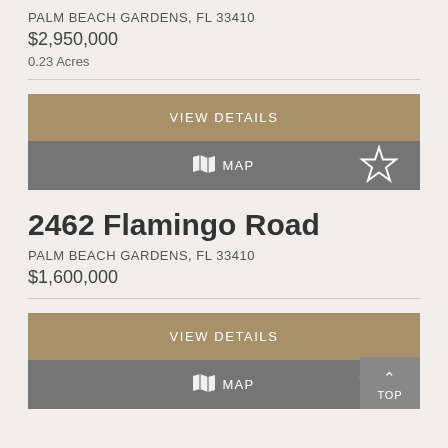PALM BEACH GARDENS, FL 33410
$2,950,000
0.23 Acres
VIEW DETAILS
MAP
2462 Flamingo Road
PALM BEACH GARDENS, FL 33410
$1,600,000
VIEW DETAILS
MAP
TOP